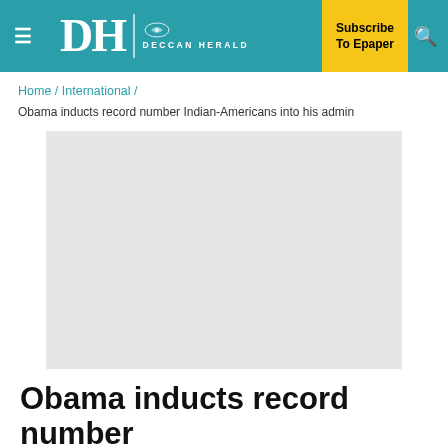Deccan Herald — Subscribe To Epaper
Home / International / Obama inducts record number Indian-Americans into his admin
[Figure (photo): Placeholder image (light gray rectangle) for photo accompanying the article about Obama inducting record number of Indian-Americans]
Obama inducts record number